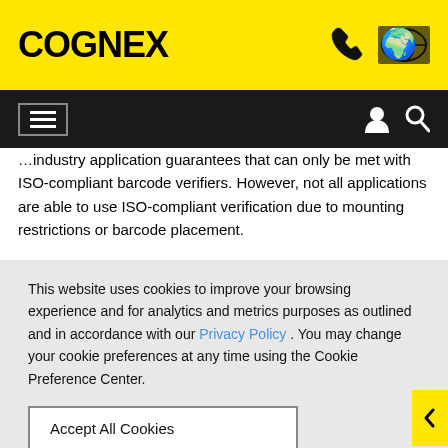COGNEX
...industry application guarantees that can only be met with ISO-compliant barcode verifiers. However, not all applications are able to use ISO-compliant verification due to mounting restrictions or barcode placement.
This website uses cookies to improve your browsing experience and for analytics and metrics purposes as outlined and in accordance with our Privacy Policy . You may change your cookie preferences at any time using the Cookie Preference Center.
Accept All Cookies
Cookie Preference Center